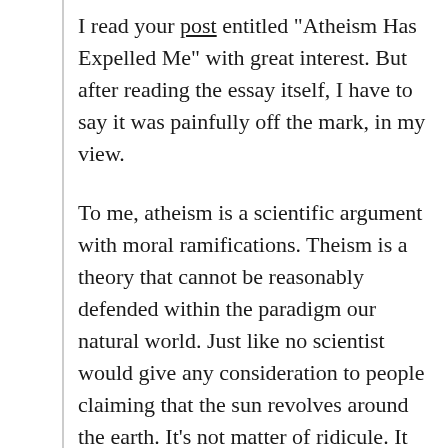I read your post entitled "Atheism Has Expelled Me" with great interest. But after reading the essay itself, I have to say it was painfully off the mark, in my view.
To me, atheism is a scientific argument with moral ramifications. Theism is a theory that cannot be reasonably defended within the paradigm our natural world. Just like no scientist would give any consideration to people claiming that the sun revolves around the earth. It's not matter of ridicule. It matter of understanding hypothesis, observation, and conclusion. While this